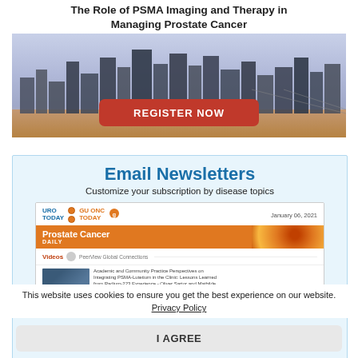[Figure (infographic): Advertisement banner: 'The Role of PSMA Imaging and Therapy in Managing Prostate Cancer' with a city skyline photo and a red 'REGISTER NOW' button]
[Figure (screenshot): Email Newsletters advertisement. Header: 'Email Newsletters', subtitle: 'Customize your subscription by disease topics'. Shows a newsletter card with URO TODAY and GU ONC TODAY logos, date January 06, 2021, Prostate Cancer DAILY section, Videos section, and an article about Academic and Community Practice Perspectives on Integrating PSMA-Lutetium.]
This website uses cookies to ensure you get the best experience on our website. Privacy Policy
I AGREE